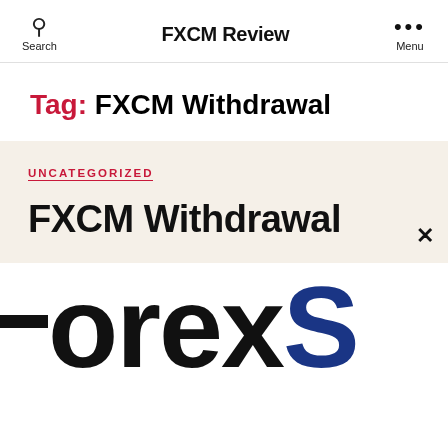FXCM Review
Tag: FXCM Withdrawal
UNCATEGORIZED
FXCM Withdrawal
[Figure (logo): Partial ForexS logo — large bold text showing '-ForexS' cropped, with a horizontal black dash/bar on the left and a blue letter S on the right]